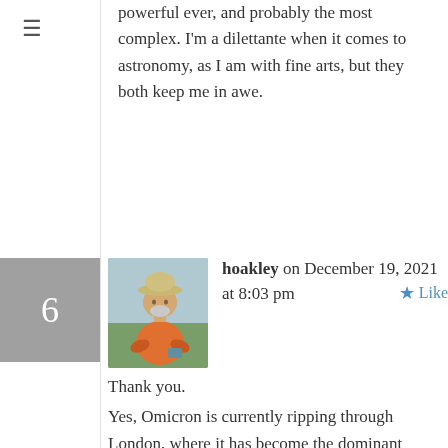powerful ever, and probably the most complex. I'm a dilettante when it comes to astronomy, as I am with fine arts, but they both keep me in awe.
[Figure (photo): Avatar photo of user hoakley, showing a person in an orange jacket and hat outdoors]
hoakley on December 19, 2021 at 8:03 pm
Thank you.
Yes, Omicron is currently ripping through London, where it has become the dominant variant over Delta already, and case numbers are rapidly heading towards 100,000 per day for the UK.
I've got plenty to keep me busy without coming into close contact with others: over Christmas I'm doing a major technical review of NAS systems, for instance.